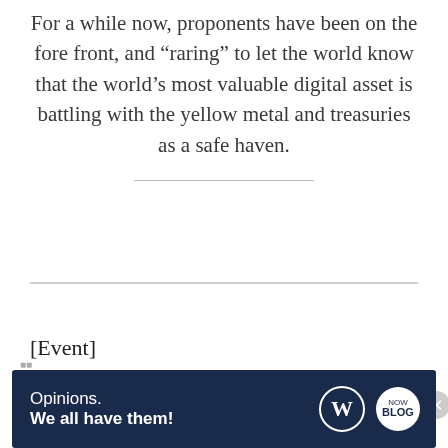For a while now, proponents have been on the fore front, and “raring” to let the world know that the world’s most valuable digital asset is battling with the yellow metal and treasuries as a safe haven.
[Figure (other): Jetpack advertisement banner: green background with Jetpack logo and 'Back up your site' button]
[Event]
[Figure (other): WordPress Opinions advertisement: dark navy background with 'Opinions. We all have them!' text and WordPress logos]